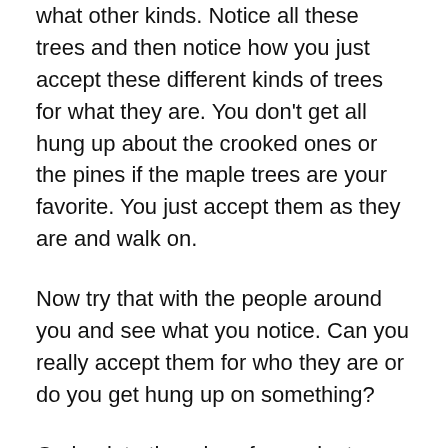what other kinds. Notice all these trees and then notice how you just accept these different kinds of trees for what they are. You don't get all hung up about the crooked ones or the pines if the maple trees are your favorite. You just accept them as they are and walk on.
Now try that with the people around you and see what you notice. Can you really accept them for who they are or do you get hung up on something?
Go back to the mirror for a minute.
Instead of lashing yourself and telling yourself you can do better, just admit how hard you're being on yourself. We're all human, and we're all gonna make mistakes and we're all gonna be way too hard on ourselves. Nobody here is an enlightened master. But here's a spoiler: even